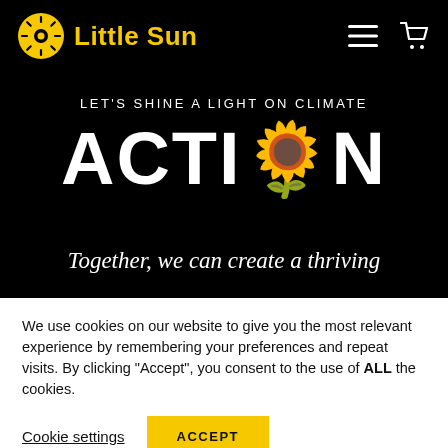[Figure (logo): Little Sun logo: yellow circle with sun rays icon and 'Little Sun' text in yellow on black background]
LET'S SHINE A LIGHT ON CLIMATE
ACTION
Together, we can create a thriving
We use cookies on our website to give you the most relevant experience by remembering your preferences and repeat visits. By clicking "Accept", you consent to the use of ALL the cookies.
Cookie settings
ACCEPT